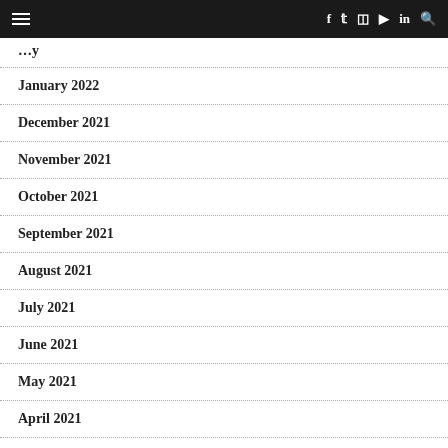≡  f  t  ☷  ▶  in  🔍
January 2022
December 2021
November 2021
October 2021
September 2021
August 2021
July 2021
June 2021
May 2021
April 2021
March 2021 (partial)